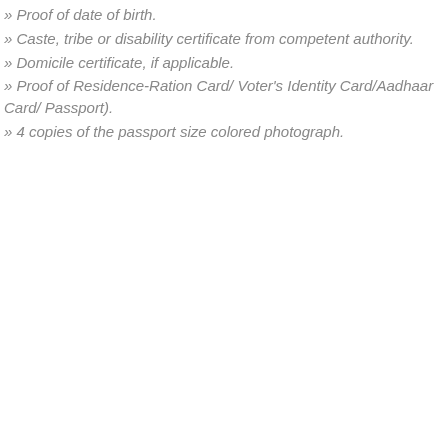» Proof of date of birth.
» Caste, tribe or disability certificate from competent authority.
» Domicile certificate, if applicable.
» Proof of Residence-Ration Card/ Voter's Identity Card/Aadhaar Card/ Passport).
» 4 copies of the passport size colored photograph.